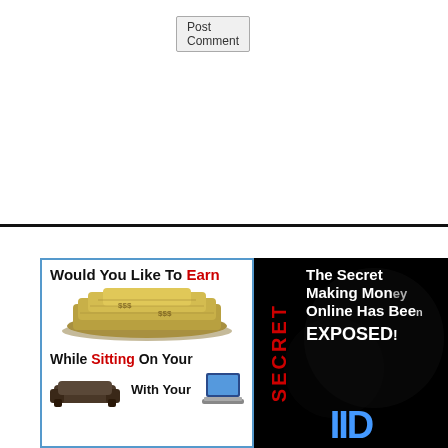Post Comment
[Figure (illustration): Advertisement banner: 'Would You Like To Earn While Sitting On Your [couch] With Your [laptop]' — image with pile of money, couch, and laptop on white background with blue border]
[Figure (illustration): Advertisement banner: 'The Secret Making Money Online Has Been EXPOSED!' with red vertical 'SECRET' text on left, white text on black background, blue letters at bottom]